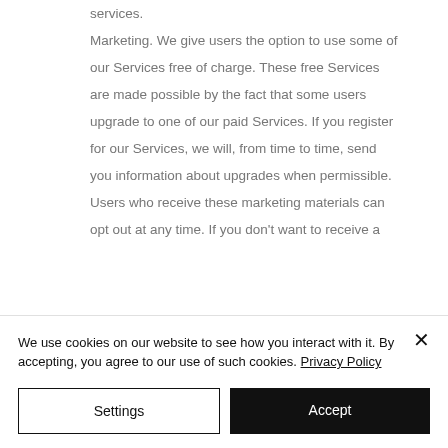services. Marketing. We give users the option to use some of our Services free of charge. These free Services are made possible by the fact that some users upgrade to one of our paid Services. If you register for our Services, we will, from time to time, send you information about upgrades when permissible. Users who receive these marketing materials can opt out at any time. If you don't want to receive a
We use cookies on our website to see how you interact with it. By accepting, you agree to our use of such cookies. Privacy Policy